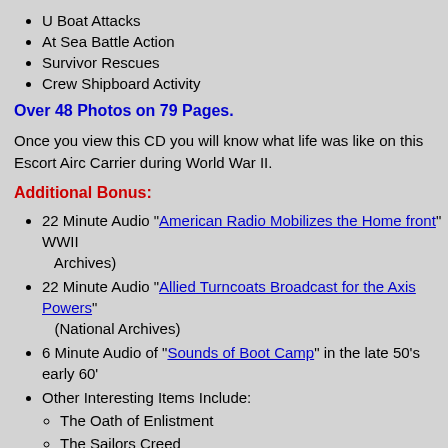U Boat Attacks
At Sea Battle Action
Survivor Rescues
Crew Shipboard Activity
Over 48 Photos on 79 Pages.
Once you view this CD you will know what life was like on this Escort Aircraft Carrier during World War II.
Additional Bonus:
22 Minute Audio "American Radio Mobilizes the Home front" WWII (National Archives)
22 Minute Audio "Allied Turncoats Broadcast for the Axis Powers" (National Archives)
6 Minute Audio of "Sounds of Boot Camp" in the late 50's early 60's
Other Interesting Items Include: The Oath of Enlistment, The Sailors Creed, Core Values of the United States Navy, Military Code of Conduct, Navy Terminology Origins (8 Pages), Examples: Scuttlebutt, Chewing the Fat, Devil to Pay, Hunky-Dory and many more.
25 Hi Res Images of the "World War Two Memorial" in Washington